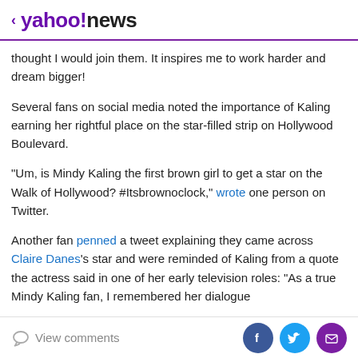< yahoo!news
thought I would join them. It inspires me to work harder and dream bigger!
Several fans on social media noted the importance of Kaling earning her rightful place on the star-filled strip on Hollywood Boulevard.
"Um, is Mindy Kaling the first brown girl to get a star on the Walk of Hollywood? #Itsbrownoclock," wrote one person on Twitter.
Another fan penned a tweet explaining they came across Claire Danes's star and were reminded of Kaling from a quote the actress said in one of her early television roles: "As a true Mindy Kaling fan, I remembered her dialogue
View comments